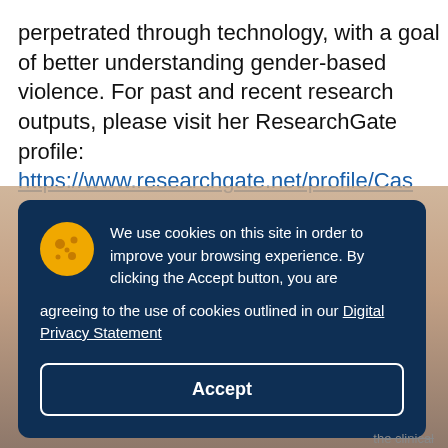perpetrated through technology, with a goal of better understanding gender-based violence. For past and recent research outputs, please visit her ResearchGate profile: https://www.researchgate.net/profile/Casey-Oliver-2
[Figure (photo): Partial photo strip of a person visible behind the cookie consent banner]
We use cookies on this site in order to improve your browsing experience. By clicking the Accept button, you are agreeing to the use of cookies outlined in our Digital Privacy Statement [Accept button]